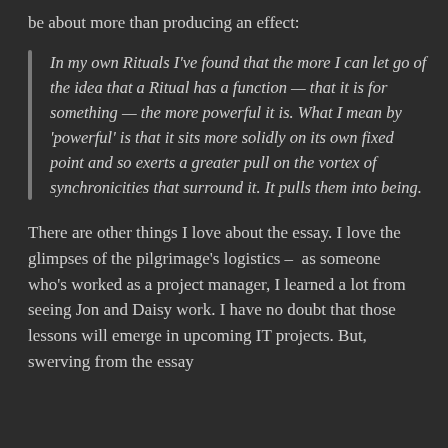be about more than producing an effect:
In my own Rituals I’ve found that the more I can let go of the idea that a Ritual has a function — that it is for something — the more powerful it is. What I mean by ‘powerful’ is that it sits more solidly on its own fixed point and so exerts a greater pull on the vortex of synchronicities that surround it. It pulls them into being.
There are other things I love about the essay. I love the glimpses of the pilgrimage’s logistics – as someone who’s worked as a project manager, I learned a lot from seeing Jon and Daisy work. I have no doubt that those lessons will emerge in upcoming IT projects. But, swerving from the essay